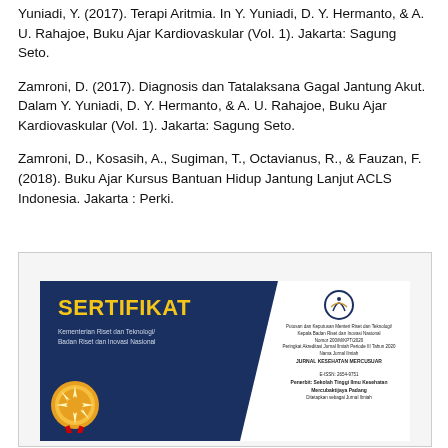Yuniadi, Y. (2017). Terapi Aritmia. In Y. Yuniadi, D. Y. Hermanto, & A. U. Rahajoe, Buku Ajar Kardiovaskular (Vol. 1). Jakarta: Sagung Seto.
Zamroni, D. (2017). Diagnosis dan Tatalaksana Gagal Jantung Akut. Dalam Y. Yuniadi, D. Y. Hermanto, & A. U. Rahajoe, Buku Ajar Kardiovaskular (Vol. 1). Jakarta: Sagung Seto.
Zamroni, D., Kosasih, A., Sugiman, T., Octavianus, R., & Fauzan, F. (2018). Buku Ajar Kursus Bantuan Hidup Jantung Lanjut ACLS Indonesia. Jakarta : Perki.
[Figure (other): A certificate (Sertifikat) from Kementerian Riset dan Teknologi / Badan Riset dan Inovasi Nasional. Dark navy blue background with gold wave design, barcode top right, logo and Indonesian text on right panel, gold medal and large number 1 on left. Text includes JURNAL KESEHATAN MERCUSUAR, E-ISSN: 2654-9751, Penerbit: Sekolah Tinggi Ilmu Kesehatan Mercubaktijaya Padang.]